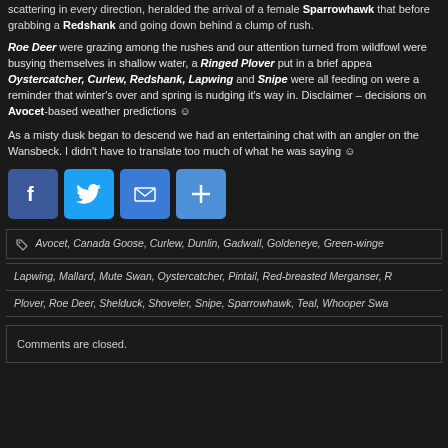turned one on it's 25 and gave Very stinging views of the lay 13 reaction resulting scattering in every direction, heralded the arrival of a female Sparrowhawk that before grabbing a Redshank and going down behind a clump of rush.
Roe Deer were grazing among the rushes and our attention turned from wildfowl were busying themselves in shallow water, a Ringed Plover put in a brief appearance Oystercatcher, Curlew, Redshank, Lapwing and Snipe were all feeding on were a reminder that winter's over and spring is nudging it's way in. Disclaimer – decisions on Avocet-based weather predictions 🙂
As a misty dusk began to descend we had an entertaining chat with an angler on the Wansbeck. I didn't have to translate too much of what he was saying 🙂
[Figure (infographic): Social sharing buttons: Facebook, Twitter, Email, and a plus/share button]
Avocet, Canada Goose, Curlew, Dunlin, Gadwall, Goldeneye, Green-winged
Lapwing, Mallard, Mute Swan, Oystercatcher, Pintail, Red-breasted Merganser, R
Plover, Roe Deer, Shelduck, Shoveler, Snipe, Sparrowhawk, Teal, Whooper Swan
Comments are closed.